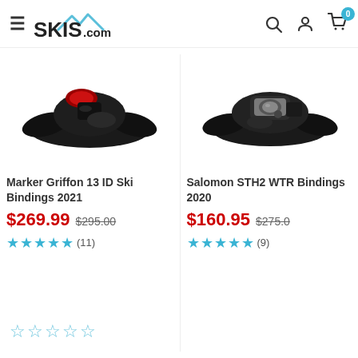SKIS.com
[Figure (photo): Marker Griffon 13 ID Ski Bindings product photo - black binding with red accent]
Marker Griffon 13 ID Ski Bindings 2021
$269.99  $295.00  ★★★★★ (11)
[Figure (photo): Salomon STH2 WTR Ski Bindings product photo - black binding]
Salomon STH2 WTR Bindings 2020
$160.95  $275.00  ★★★★★ (9)
☆☆☆☆☆